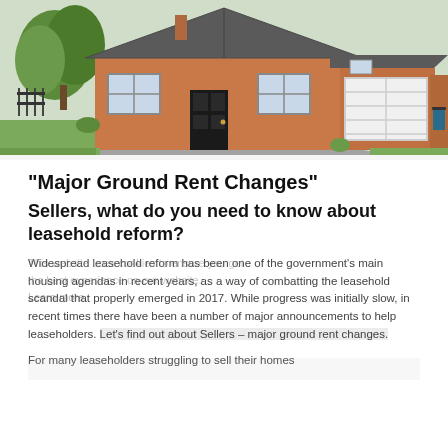[Figure (photo): Exterior photo of a red brick detached house with a white garage door, driveway, and garden, typical UK residential property]
"Major Ground Rent Changes"
Sellers, what do you need to know about leasehold reform?
Widespread leasehold reform has been one of the government's main housing agendas in recent years, as a way of combatting the leasehold scandal that properly emerged in 2017.  While progress was initially slow, in recent times there have been a number of major announcements to help leaseholders.  Let's find out about Sellers – major ground rent changes.
For many leaseholders struggling to sell their homes